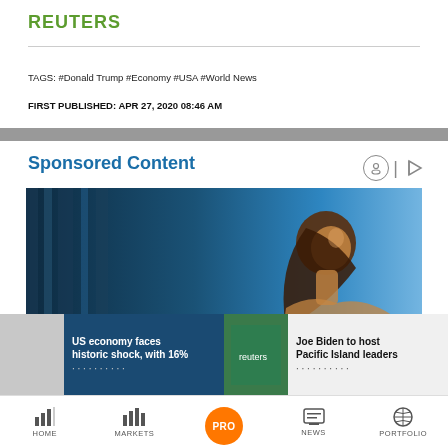REUTERS
TAGS: #Donald Trump #Economy #USA #World News
FIRST PUBLISHED: APR 27, 2020 08:46 AM
Sponsored Content
[Figure (photo): Woman in blue-lit room, looking upward — sponsored content advertisement photo]
US economy faces historic shock, with 16% ...
Joe Biden to host Pacific Island leaders ...
HOME  MARKETS  PRO  NEWS  PORTFOLIO